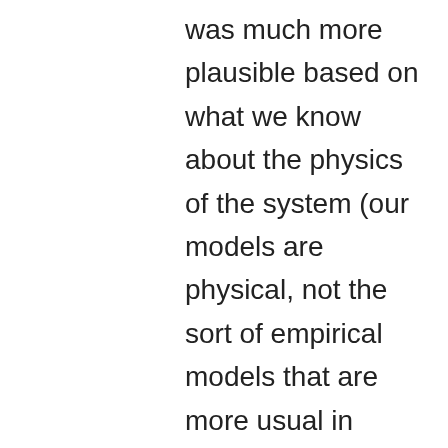was much more plausible based on what we know about the physics of the system (our models are physical, not the sort of empirical models that are more usual in statistics)." 😉
[Figure (other): Small avatar/profile image placeholder with broken image icon]
Stephen John Senn (@stephensenn) on May 11, 2015 at 2:47 am
I think David and I agree as regards these points
1) P-values should not be interpreted as posterior